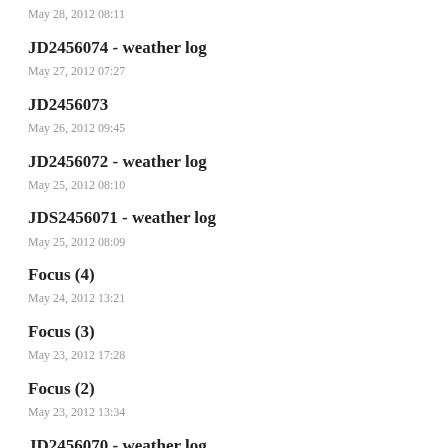May 28, 2012 08:11
JD2456074 - weather log
May 27, 2012 07:27
JD2456073
May 26, 2012 09:45
JD2456072 - weather log
May 25, 2012 08:10
JDS2456071 - weather log
May 25, 2012 08:09
Focus (4)
May 24, 2012 13:21
Focus (3)
May 23, 2012 17:28
Focus (2)
May 23, 2012 13:34
JD2456070 - weather log
May 23, 2012 10:57